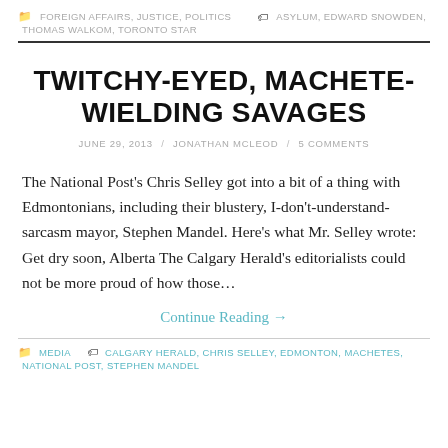FOREIGN AFFAIRS, JUSTICE, POLITICS  ASYLUM, EDWARD SNOWDEN, THOMAS WALKOM, TORONTO STAR
TWITCHY-EYED, MACHETE-WIELDING SAVAGES
JUNE 29, 2013 / JONATHAN MCLEOD / 5 COMMENTS
The National Post's Chris Selley got into a bit of a thing with Edmontonians, including their blustery, I-don't-understand-sarcasm mayor, Stephen Mandel. Here's what Mr. Selley wrote: Get dry soon, Alberta The Calgary Herald's editorialists could not be more proud of how those…
Continue Reading →
MEDIA  CALGARY HERALD, CHRIS SELLEY, EDMONTON, MACHETES, NATIONAL POST, STEPHEN MANDEL